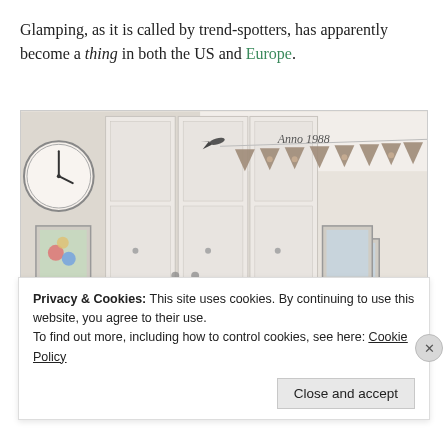Glamping, as it is called by trend-spotters, has apparently become a thing in both the US and Europe.
[Figure (photo): Interior photo of a room with white paneled walls and doors, a round clock on the left wall, framed pictures on the walls, decorative bunting flags hanging from the ceiling reading 'Anno 1988', and a bird figure on the bunting.]
Privacy & Cookies: This site uses cookies. By continuing to use this website, you agree to their use. To find out more, including how to control cookies, see here: Cookie Policy